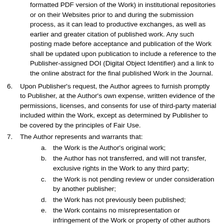formatted PDF version of the Work) in institutional repositories or on their Websites prior to and during the submission process, as it can lead to productive exchanges, as well as earlier and greater citation of published work. Any such posting made before acceptance and publication of the Work shall be updated upon publication to include a reference to the Publisher-assigned DOI (Digital Object Identifier) and a link to the online abstract for the final published Work in the Journal.
6. Upon Publisher’s request, the Author agrees to furnish promptly to Publisher, at the Author’s own expense, written evidence of the permissions, licenses, and consents for use of third-party material included within the Work, except as determined by Publisher to be covered by the principles of Fair Use.
7. The Author represents and warrants that:
a. the Work is the Author’s original work;
b. the Author has not transferred, and will not transfer, exclusive rights in the Work to any third party;
c. the Work is not pending review or under consideration by another publisher;
d. the Work has not previously been published;
e. the Work contains no misrepresentation or infringement of the Work or property of other authors or third parties; and